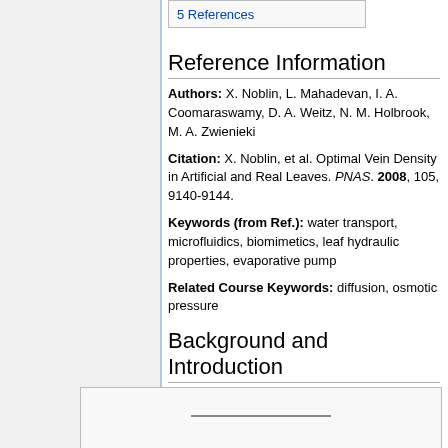5 References
Reference Information
Authors: X. Noblin, L. Mahadevan, I. A. Coomaraswamy, D. A. Weitz, N. M. Holbrook, M. A. Zwienieki
Citation: X. Noblin, et al. Optimal Vein Density in Artificial and Real Leaves. PNAS. 2008, 105, 9140-9144.
Keywords (from Ref.): water transport, microfluidics, biomimetics, leaf hydraulic properties, evaporative pump
Related Course Keywords: diffusion, osmotic pressure
Background and Introduction